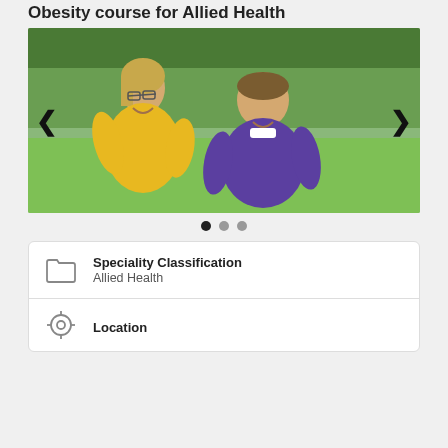Obesity course for Allied Health
[Figure (photo): A woman in a yellow shirt and a boy in a purple shirt sitting together on grass, smiling. Navigation arrows on left and right sides of the image carousel.]
[Figure (infographic): Carousel navigation dots: three dots with the first (leftmost) filled black (active) and the next two gray (inactive).]
| Field | Value |
| --- | --- |
| Speciality Classification | Allied Health |
| Location |  |